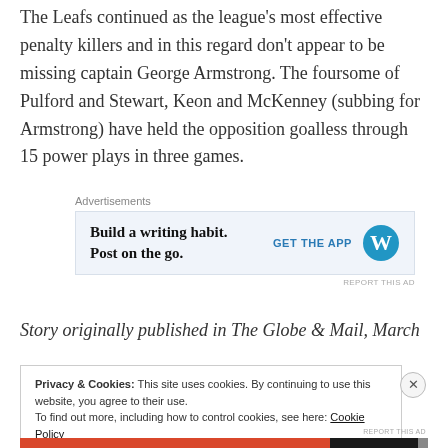The Leafs continued as the league's most effective penalty killers and in this regard don't appear to be missing captain George Armstrong. The foursome of Pulford and Stewart, Keon and McKenney (subbing for Armstrong) have held the opposition goalless through 15 power plays in three games.
[Figure (other): Advertisement box with text 'Build a writing habit. Post on the go.' and a 'GET THE APP' call to action with a WordPress logo icon.]
Story originally published in The Globe & Mail, March
Privacy & Cookies: This site uses cookies. By continuing to use this website, you agree to their use. To find out more, including how to control cookies, see here: Cookie Policy
Close and accept